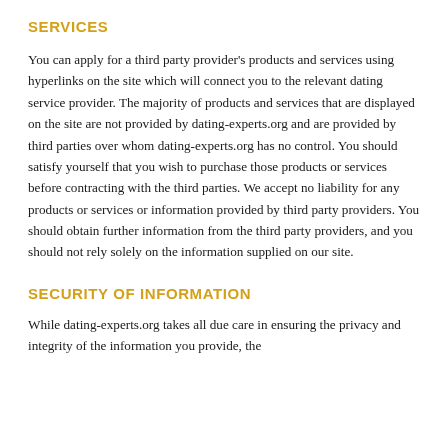SERVICES
You can apply for a third party provider's products and services using hyperlinks on the site which will connect you to the relevant dating service provider. The majority of products and services that are displayed on the site are not provided by dating-experts.org and are provided by third parties over whom dating-experts.org has no control. You should satisfy yourself that you wish to purchase those products or services before contracting with the third parties. We accept no liability for any products or services or information provided by third party providers. You should obtain further information from the third party providers, and you should not rely solely on the information supplied on our site.
SECURITY OF INFORMATION
While dating-experts.org takes all due care in ensuring the privacy and integrity of the information you provide, the